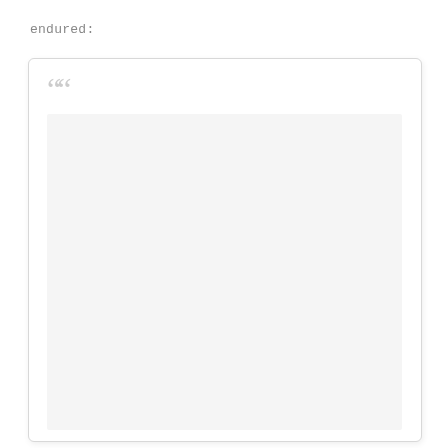endured:
[Figure (other): A card/quote block UI element with large quotation mark icon at top-left and a light gray rectangular content area below]